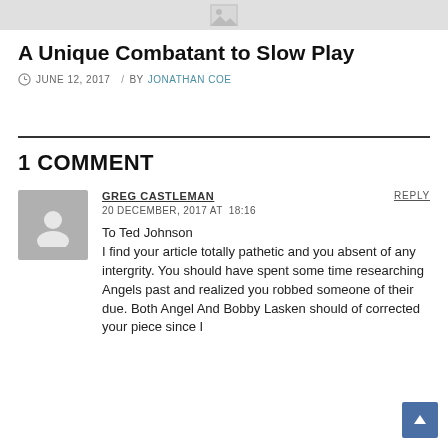[Figure (illustration): Gray placeholder image at top of page]
A Unique Combatant to Slow Play
JUNE 12, 2017  /  BY  JONATHAN COE
1 COMMENT
GREG CASTLEMAN
20 DECEMBER, 2017 AT 18:16

To Ted Johnson
I find your article totally pathetic and you absent of any intergrity. You should have spent some time researching Angels past and realized you robbed someone of their due. Both Angel And Bobby Lasken should of corrected your piece since I